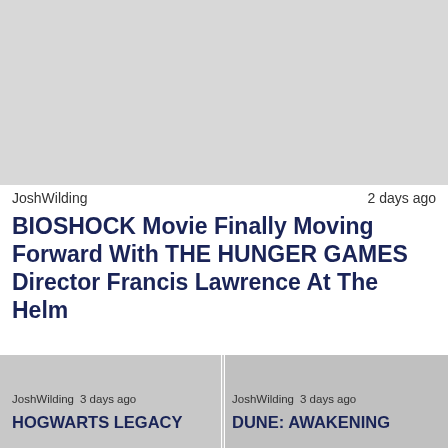[Figure (photo): Article thumbnail image placeholder for BIOSHOCK article]
JoshWilding   2 days ago
BIOSHOCK Movie Finally Moving Forward With THE HUNGER GAMES Director Francis Lawrence At The Helm
[Figure (photo): Article thumbnail image placeholder for HOGWARTS LEGACY article]
[Figure (photo): Article thumbnail image placeholder for DUNE: AWAKENING article]
JoshWilding   3 days ago
JoshWilding   3 days ago
HOGWARTS LEGACY
DUNE: AWAKENING